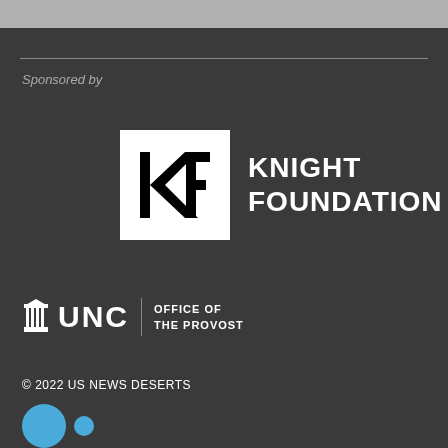Sponsored by
[Figure (logo): Knight Foundation logo: white square with bold black KF letters on left, and KNIGHT FOUNDATION text in white bold uppercase on right]
[Figure (logo): UNC Office of the Provost logo: column icon with UNC text, vertical divider, then OFFICE OF THE PROVOST text]
© 2022 US NEWS DESERTS